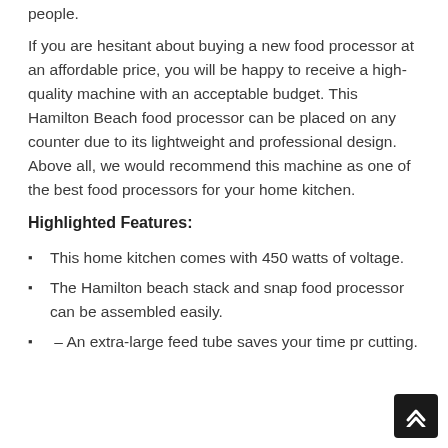people.
If you are hesitant about buying a new food processor at an affordable price, you will be happy to receive a high-quality machine with an acceptable budget. This Hamilton Beach food processor can be placed on any counter due to its lightweight and professional design. Above all, we would recommend this machine as one of the best food processors for your home kitchen.
Highlighted Features:
This home kitchen comes with 450 watts of voltage.
The Hamilton beach stack and snap food processor can be assembled easily.
– An extra-large feed tube saves your time pr cutting.